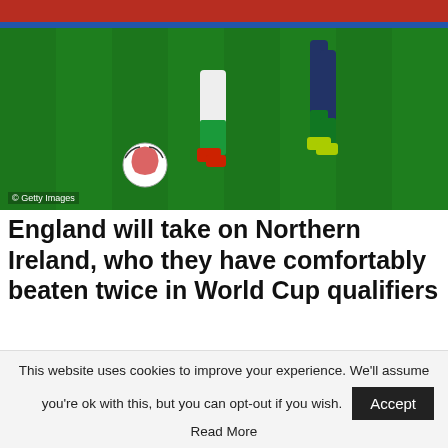[Figure (photo): Women's football/soccer match photo showing players' legs and a ball on a green pitch with red stadium background. Players wearing green and white kits with colorful boots.]
© Getty Images
England will take on Northern Ireland, who they have comfortably beaten twice in World Cup qualifiers
[Figure (photo): Women's football match photo showing two players competing, one in white England kit and one in dark kit, with crowd in background.]
This website uses cookies to improve your experience. We'll assume you're ok with this, but you can opt-out if you wish. Accept Read More